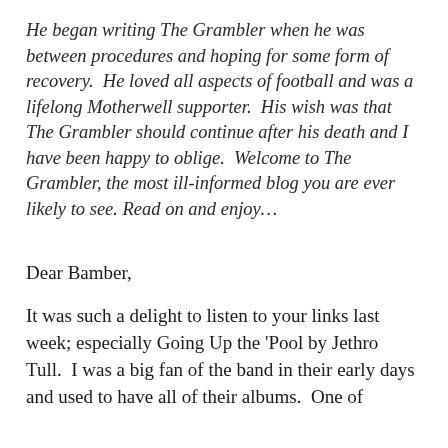He began writing The Grambler when he was between procedures and hoping for some form of recovery.  He loved all aspects of football and was a lifelong Motherwell supporter.  His wish was that The Grambler should continue after his death and I have been happy to oblige.  Welcome to The Grambler, the most ill-informed blog you are ever likely to see. Read on and enjoy…
Dear Bamber,
It was such a delight to listen to your links last week; especially Going Up the 'Pool by Jethro Tull.  I was a big fan of the band in their early days and used to have all of their albums.  One of